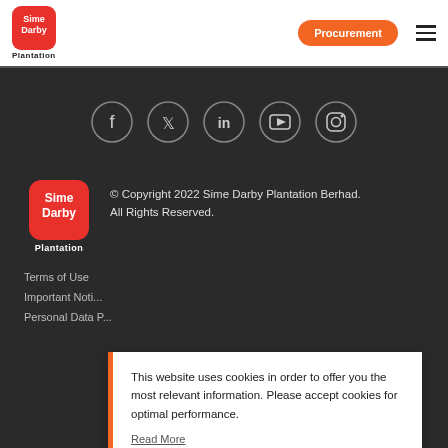[Figure (logo): Sime Darby Plantation logo in header — red rounded square with white text 'Sime Darby', below 'Plantation' in black]
Procurement
[Figure (illustration): Social media icons in circles: Facebook, Twitter, LinkedIn, YouTube, Instagram on dark background]
[Figure (logo): Sime Darby Plantation logo in footer — red rounded square with white text 'Sime Darby', below 'Plantation' in white]
© Copyright 2022 Sime Darby Plantation Berhad. All Rights Reserved.
Terms of Use
Important Noti...
Personal Data P...
This website uses cookies in order to offer you the most relevant information. Please accept cookies for optimal performance.
Read More
ACCEPT   IGNORE